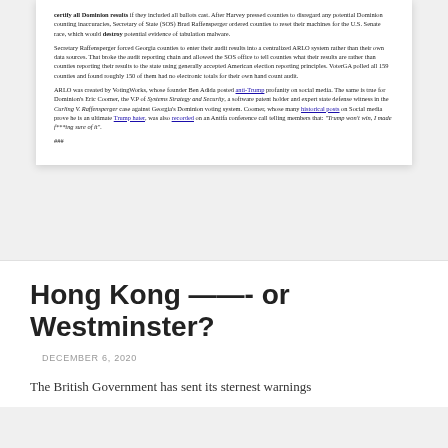certify all Dominion results if they included all ballots cast. After Harvey pressed counties to disregard any potential Dominion counting inaccuracies, Secretary of State (SOS) Brad Raffensperger ordered counties to reset their machines for the U.S. Senate race, which would destroy potential evidence of tabulation malware.
Secretary Raffensperger forced Georgia counties to enter their audit results into a centralized ARLO system rather than their own data sources. That broke the audit reporting chain and allowed the SOS office to tell counties what their results are rather than counties reporting their results to the state using generally accepted American election reporting principles. VoterGA polled all 159 counties and found roughly 150 of them had no electronic totals for their own hand count audit.
ARLO was created by VotingWorks, whose founder Ben Adida posted anti-Trump profanity on social media. The same is true for Dominion's Eric Coomer, the V.P of Systems Strategy and Security, a software patent holder and expert state defense witness in the Curling V. Raffensperger case against Georgia's Dominion voting system. Coomer, whose many historical posts on Social media prove he is an ultimate Trump hater, was also recorded on an Antifa conference call telling members that: "Trump won't win, I made f***ing sure of it".
###
Hong Kong —–- or Westminster?
DECEMBER 6, 2020
The British Government has sent its sternest warnings